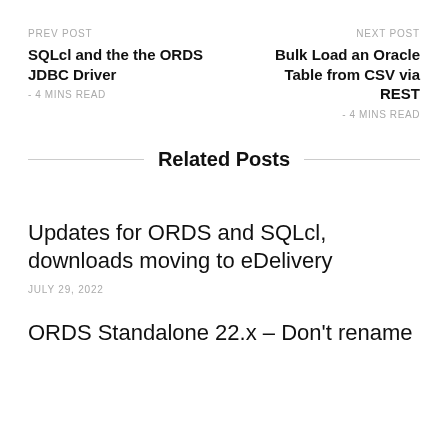PREV POST
SQLcl and the the ORDS JDBC Driver
- 4 MINS READ
NEXT POST
Bulk Load an Oracle Table from CSV via REST
- 4 MINS READ
Related Posts
Updates for ORDS and SQLcl, downloads moving to eDelivery
JULY 29, 2022
ORDS Standalone 22.x – Don't rename